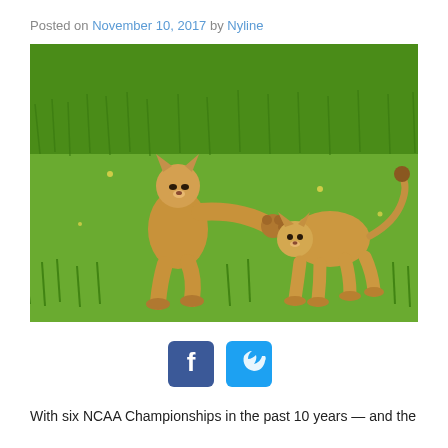Posted on November 10, 2017 by Nyline
[Figure (photo): Two lion cubs playing in green grass. One cub is standing on hind legs reaching out a paw toward the other cub.]
[Figure (infographic): Facebook and Twitter social share icons (blue rounded square buttons)]
With six NCAA Championships in the past 10 years — and the